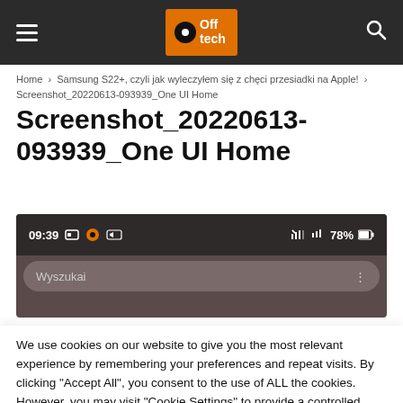Off tech — navigation header with hamburger menu and search icon
Home › Samsung S22+, czyli jak wyleczyłem się z chęci przesiadki na Apple! › Screenshot_20220613-093939_One UI Home
Screenshot_20220613-093939_One UI Home
[Figure (screenshot): Mobile phone screenshot showing status bar with time 09:39, icons, 78% battery, and a search bar showing 'Wyszukai']
We use cookies on our website to give you the most relevant experience by remembering your preferences and repeat visits. By clicking "Accept All", you consent to the use of ALL the cookies. However, you may visit "Cookie Settings" to provide a controlled consent.